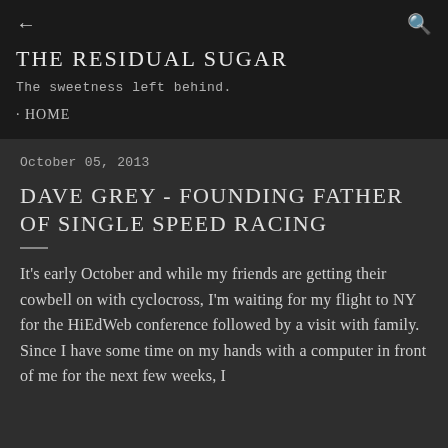← THE RESIDUAL SUGAR
The sweetness left behind.
· HOME
October 05, 2013
DAVE GREY - FOUNDING FATHER OF SINGLE SPEED RACING
It's early October and while my friends are getting their cowbell on with cyclocross, I'm waiting for my flight to NY for the HiEdWeb conference followed by a visit with family. Since I have some time on my hands with a computer in front of me for the next few weeks, I